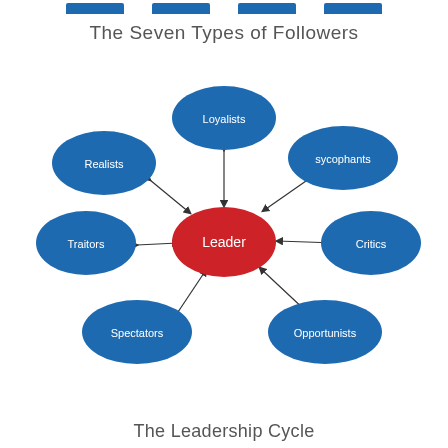[Figure (other): Partial blue tab decorations at top of page]
The Seven Types of Followers
[Figure (network-graph): A network diagram showing a central red oval labeled 'Leader' connected by double-headed arrows to seven surrounding blue ovals: Loyalists (top), sycophants (upper right), Critics (right), Opportunists (lower right), Spectators (lower left), Traitors (left), Realists (upper left).]
The Leadership Cycle